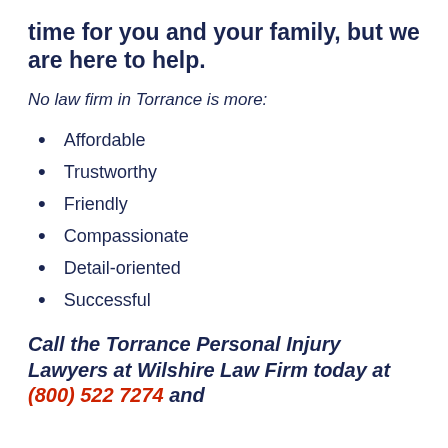time for you and your family, but we are here to help.
No law firm in Torrance is more:
Affordable
Trustworthy
Friendly
Compassionate
Detail-oriented
Successful
Call the Torrance Personal Injury Lawyers at Wilshire Law Firm today at (800) 522 7274 and